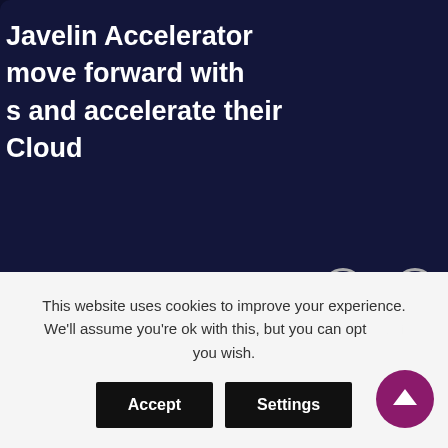Javelin Accelerator
move forward with
s and accelerate their
Cloud
[Figure (screenshot): Night mode toggle button with icon and vertical text label 'NIGHT MODE' on dark background]
AC
nts of change for
This website uses cookies to improve your experience. We'll assume you're ok with this, but you can opt-out if you wish.
Accept
Settings